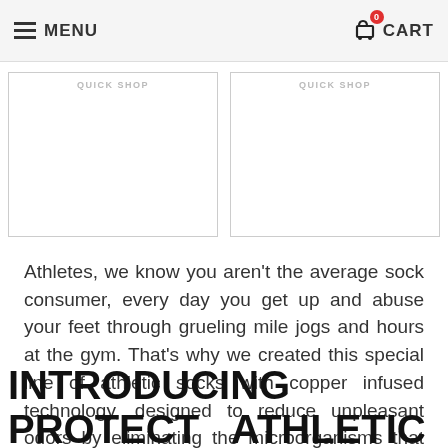MENU  CART
[Figure (other): Two product image placeholder boxes with 'QUICK SHOP' labels, side by side]
Athletes, we know you aren't the average sock consumer, every day you get up and abuse your feet through grueling mile jogs and hours at the gym. That's why we created this special line of athletic socks with copper infused technology, designed to reduce unpleasant odors by eliminating the microorganisms that cause them.
INTRODUCING PROTECT ATHLETIC SOCKS WITH COPPER INFUSED